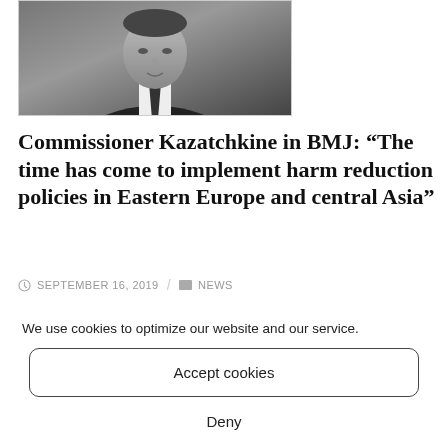[Figure (photo): Black and white photograph of a man in a suit and tie, cropped to show head and upper torso]
Commissioner Kazatchkine in BMJ: “The time has come to implement harm reduction policies in Eastern Europe and central Asia”
SEPTEMBER 16, 2019 / NEWS
We use cookies to optimize our website and our service.
Accept cookies
Deny
View preferences